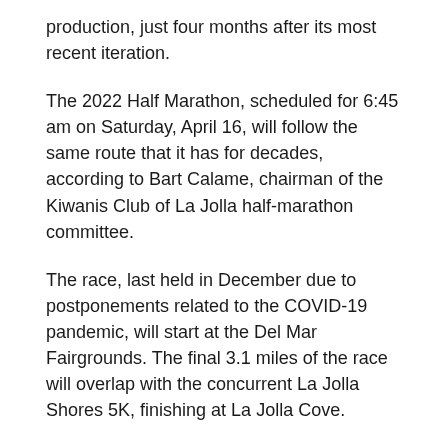production, just four months after its most recent iteration.
The 2022 Half Marathon, scheduled for 6:45 am on Saturday, April 16, will follow the same route that it has for decades, according to Bart Calame, chairman of the Kiwanis Club of La Jolla half-marathon committee.
The race, last held in December due to postponements related to the COVID-19 pandemic, will start at the Del Mar Fairgrounds. The final 3.1 miles of the race will overlap with the concurrent La Jolla Shores 5K, finishing at La Jolla Cove.
The race will require the same morning road closures and no-parking zones as in the past. Calame said he expects the race to be over by about 11 am
“We’re expecting [and] hoping for 4,000 runners,” he said,